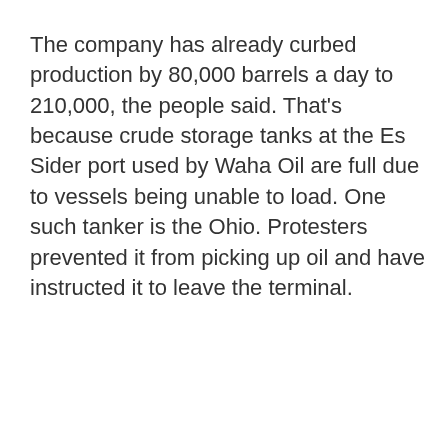The company has already curbed production by 80,000 barrels a day to 210,000, the people said. That's because crude storage tanks at the Es Sider port used by Waha Oil are full due to vessels being unable to load. One such tanker is the Ohio. Protesters prevented it from picking up oil and have instructed it to leave the terminal.